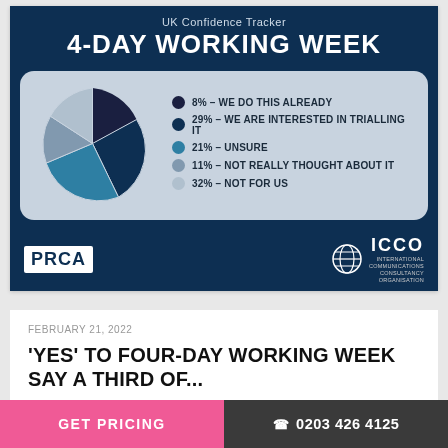[Figure (pie-chart): UK Confidence Tracker – 4-Day Working Week]
FEBRUARY 21, 2022
'YES' TO FOUR-DAY WORKING WEEK SAY A THIRD OF...
GET PRICING | 0203 426 4125